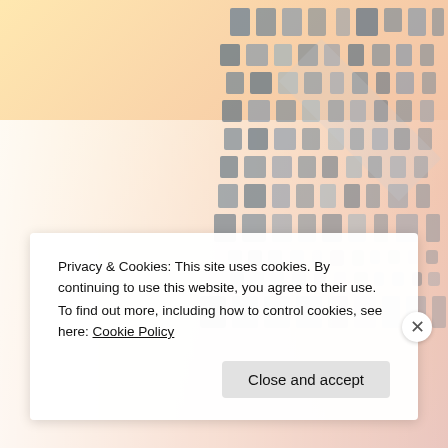[Figure (illustration): Abstract background image showing a building facade with a grid pattern of dark gray/slate colored squares and rectangles on a white/light background, with warm peach and yellow gradient tones on the left side.]
Privacy & Cookies: This site uses cookies. By continuing to use this website, you agree to their use.
To find out more, including how to control cookies, see here: Cookie Policy
Close and accept